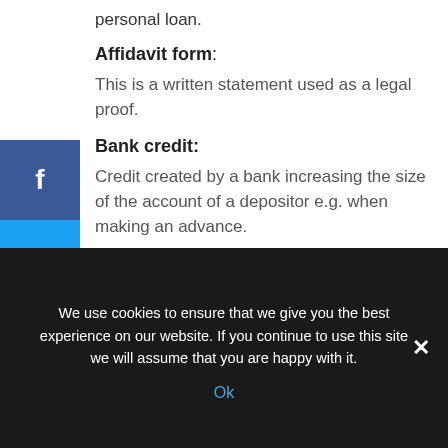personal loan.
Affidavit form:
This is a written statement used as a legal proof.
Bank credit:
Credit created by a bank increasing the size of the account of a depositor e.g. when making an advance.
Branch 🖇 banking:
The typical commercial bank in most countries is a very large institution with a large number of branches.
We use cookies to ensure that we give you the best experience on our website. If you continue to use this site we will assume that you are happy with it. Ok